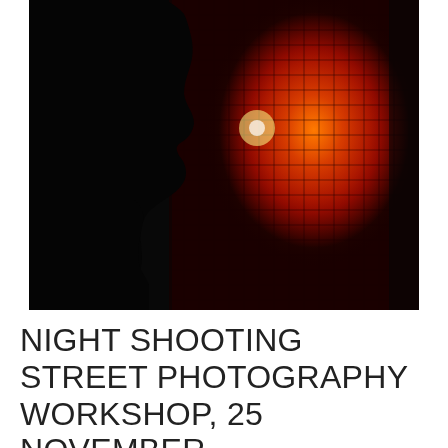[Figure (photo): Night photography: dark silhouette of a person's profile against a glowing red-orange backlit grid/screen. The person faces right, with dramatic contrast between the black silhouette and the vivid red illuminated grid pattern behind them.]
NIGHT SHOOTING STREET PHOTOGRAPHY WORKSHOP, 25 NOVEMBER